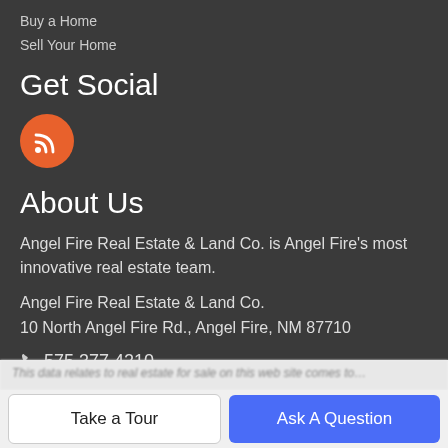Buy a Home
Sell Your Home
Get Social
[Figure (illustration): Orange circular RSS feed icon with white signal waves]
About Us
Angel Fire Real Estate & Land Co. is Angel Fire's most innovative real estate team.
Angel Fire Real Estate & Land Co.
10 North Angel Fire Rd., Angel Fire, NM 87710
📞 575.377.4210
© 2022 Taos Association of Realtors MLS, Inc. All rights reserved. Data last updated: 2022-08-24T00:29:14.34.
Take a Tour
Ask A Question